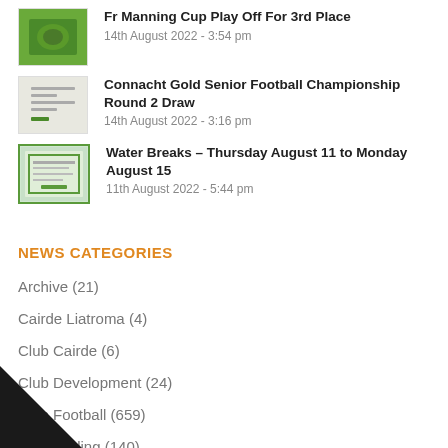Fr Manning Cup Play Off For 3rd Place
14th August 2022 - 3:54 pm
Connacht Gold Senior Football Championship Round 2 Draw
14th August 2022 - 3:16 pm
Water Breaks – Thursday August 11 to Monday August 15
11th August 2022 - 5:44 pm
NEWS CATEGORIES
Archive (21)
Cairde Liatroma (4)
Club Cairde (6)
Club Development (24)
Club Football (659)
Club Hurling (140)
Notes (20)